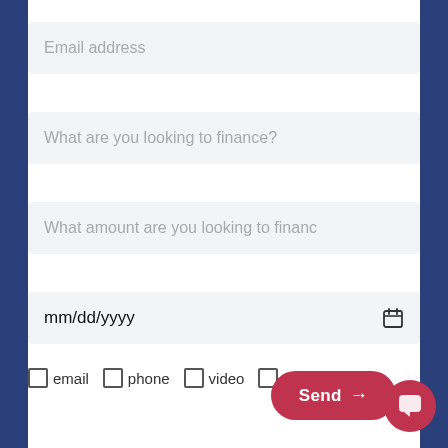Email address
What are you looking to finance?
What amount are you looking to finance
mm/dd/yyyy
email
phone
video
face-to-face
Send →